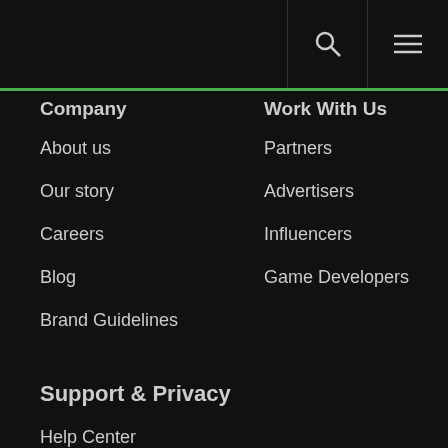Company
About us
Our story
Careers
Blog
Brand Guidelines
Work With Us
Partners
Advertisers
Influencers
Game Developers
Support & Privacy
Help Center
Supported Games
Terms of service
Privacy Policy